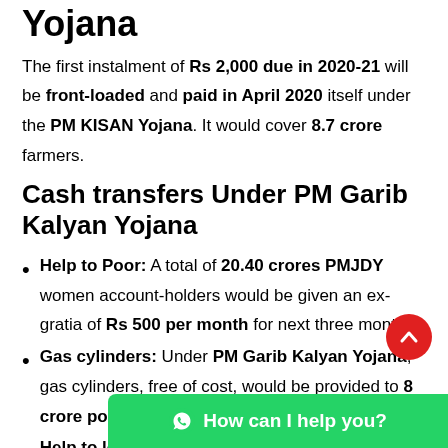Yojana
The first instalment of Rs 2,000 due in 2020-21 will be front-loaded and paid in April 2020 itself under the PM KISAN Yojana. It would cover 8.7 crore farmers.
Cash transfers Under PM Garib Kalyan Yojana
Help to Poor: A total of 20.40 crores PMJDY women account-holders would be given an ex-gratia of Rs 500 per month for next three months.
Gas cylinders: Under PM Garib Kalyan Yojana, gas cylinders, free of cost, would be provided to 8 crore poor families for the next three months.
Help to low wage earners in